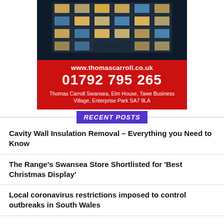[Figure (photo): Thomas Carroll advertisement showing an office building at night with a red band showing website www.thomascarroll.co.uk, phone number 01792 795 265, and address Thomas Carroll Swansea, Elm House, Tawe Business Village, Enterprise Park SA7 9LA]
RECENT POSTS
Cavity Wall Insulation Removal – Everything you Need to Know
The Range's Swansea Store Shortlisted for 'Best Christmas Display'
Local coronavirus restrictions imposed to control outbreaks in South Wales